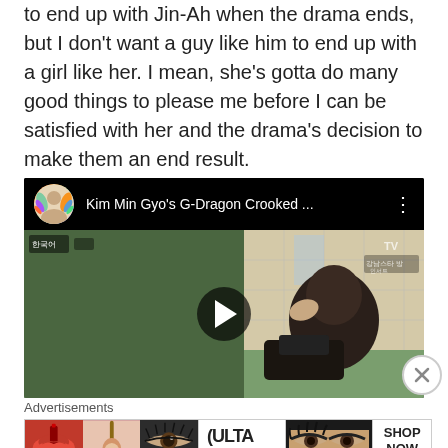to end up with Jin-Ah when the drama ends, but I don't want a guy like him to end up with a girl like her. I mean, she's gotta do many good things to please me before I can be satisfied with her and the drama's decision to make them an end result.
[Figure (screenshot): YouTube video thumbnail showing 'Kim Min Gyo's G-Dragon Crooked ...' with a play button overlay. The thumbnail shows a person in what appears to be a backstage or bathroom setting. Channel avatar is colorful/illustrated.]
Advertisements
[Figure (screenshot): Advertisement banner for ULTA beauty showing makeup product imagery including lips with lipstick, makeup brush, eye with mascara, ULTA logo, glamorous eyes, and 'SHOP NOW' text.]